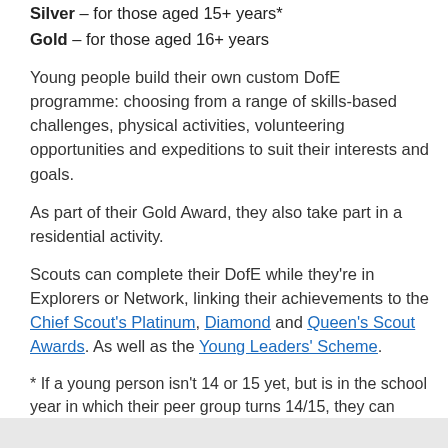Silver – for those aged 15+ years*
Gold – for those aged 16+ years
Young people build their own custom DofE programme: choosing from a range of skills-based challenges, physical activities, volunteering opportunities and expeditions to suit their interests and goals.
As part of their Gold Award, they also take part in a residential activity.
Scouts can complete their DofE while they're in Explorers or Network, linking their achievements to the Chief Scout's Platinum, Diamond and Queen's Scout Awards. As well as the Young Leaders' Scheme.
* If a young person isn't 14 or 15 yet, but is in the school year in which their peer group turns 14/15, they can start their respective award. All activities must be completed by a young person's 25th birthday.